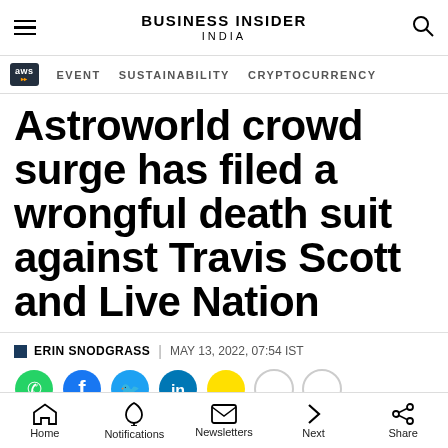BUSINESS INSIDER INDIA
EVENT   SUSTAINABILITY   CRYPTOCURRENCY
Astroworld crowd surge has filed a wrongful death suit against Travis Scott and Live Nation
ERIN SNODGRASS | MAY 13, 2022, 07:54 IST
Home  Notifications  Newsletters  Next  Share